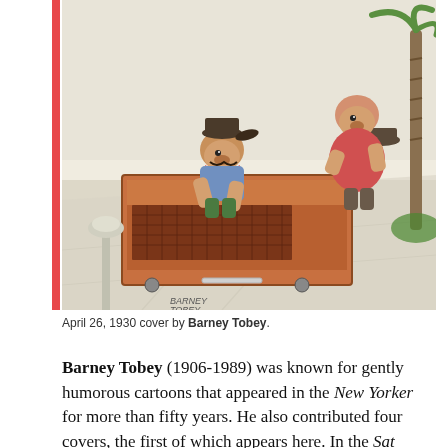[Figure (illustration): A colorful cartoon illustration showing two anthropomorphic animal characters (dressed as workers/movers) loading or moving a large wooden crate/cabinet onto or off of a vehicle, with a palm tree and street lamp visible in the background. The artist signature 'BARNEY TOBEY' is visible at the bottom left of the image.]
April 26, 1930 cover by Barney Tobey.
Barney Tobey (1906-1989) was known for gently humorous cartoons that appeared in the New Yorker for more than fifty years. He also contributed four covers, the first of which appears here. In the Saturday